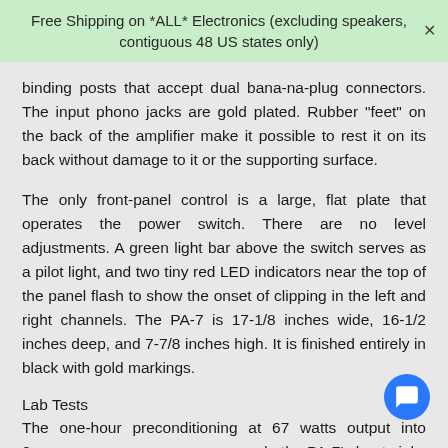Free Shipping on *ALL* Electronics (excluding speakers, contiguous 48 US states only)
binding posts that accept dual bana-na-plug connectors. The input phono jacks are gold plated. Rubber "feet" on the back of the amplifier make it possible to rest it on its back without damage to it or the supporting surface.
The only front-panel control is a large, flat plate that operates the power switch. There are no level adjustments. A green light bar above the switch serves as a pilot light, and two tiny red LED indicators near the top of the panel flash to show the onset of clipping in the left and right channels. The PA-7 is 17-1/8 inches wide, 16-1/2 inches deep, and 7-7/8 inches high. It is finished entirely in black with gold markings.
Lab Tests
The one-hour preconditioning at 67 watts output into 8 made the PA-7's heat sinks fairly warm, but no part of the amplifier's exterior was uncomfortable to the touch. In normal